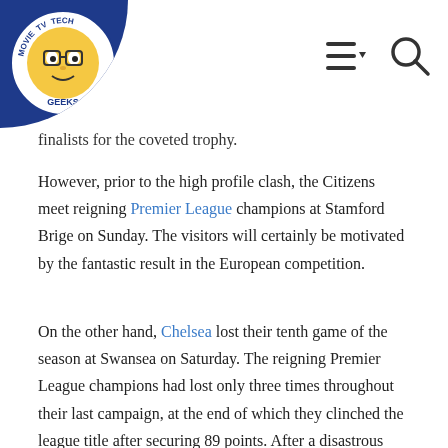Movie TV Tech Geeks [logo] [hamburger menu] [search icon]
finalists for the coveted trophy.
However, prior to the high profile clash, the Citizens meet reigning Premier League champions at Stamford Brige on Sunday. The visitors will certainly be motivated by the fantastic result in the European competition.
On the other hand, Chelsea lost their tenth game of the season at Swansea on Saturday. The reigning Premier League champions had lost only three times throughout their last campaign, at the end of which they clinched the league title after securing 89 points. After a disastrous start to the 2015 – 2016 season, the Blues found stability after the appointment of Guus Hiddink.
Last week, Chelsea announced that the Italian coach, Antonio Conte,